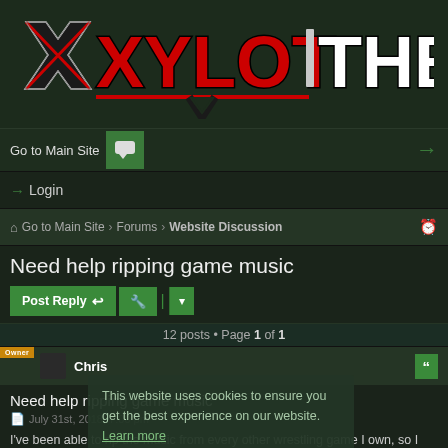[Figure (logo): Xylot Themes logo with stylized X icon and red/white block lettering]
Go to Main Site  [chat icon]  [login icon]
Login
Go to Main Site > Forums > Website Discussion
Need help ripping game music
Post Reply  [tools]  [dropdown]
12 posts • Page 1 of 1
Chris
Need help ripping game music
July 31st, 2018, 7:00 pm
I've been able to rip the music from every other wrestling game I own, so I feel like I should have an idea of what I'm doing here, but with these two
This website uses cookies to ensure you get the best experience on our website. Learn more
Got it!